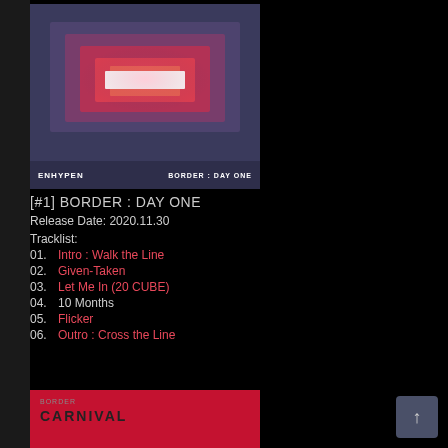[Figure (illustration): ENHYPEN BORDER: DAY ONE album cover - dark blue-gray background with glowing red/pink/white nested rectangles in center. Bottom bar shows 'ENHYPEN' on left and 'BORDER: DAY ONE' on right.]
[#1] BORDER : DAY ONE
Release Date: 2020.11.30
Tracklist:
01. Intro : Walk the Line
02. Given-Taken
03. Let Me In (20 CUBE)
04. 10 Months
05. Flicker
06. Outro : Cross the Line
[Figure (illustration): ENHYPEN BORDER: CARNIVAL album cover - solid red/crimson background with 'BORDER CARNIVAL' text in top left corner.]